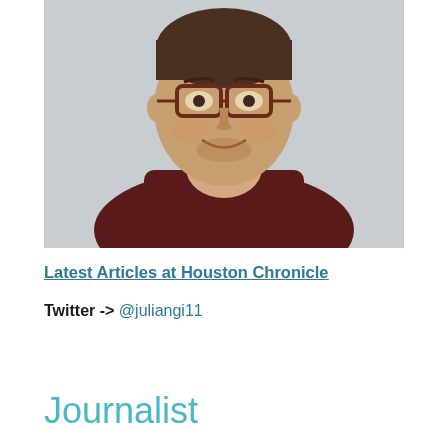[Figure (photo): Headshot of a young man wearing glasses and a dark maroon sweater, smiling, light grey background]
Latest Articles at Houston Chronicle
Twitter -> @juliangi11
Journalist